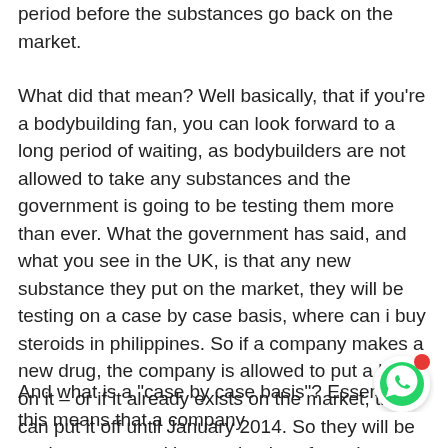period before the substances go back on the market.
What did that mean? Well basically, that if you're a bodybuilding fan, you can look forward to a long period of waiting, as bodybuilders are not allowed to take any substances and the government is going to be testing them more than ever. What the government has said, and what you see in the UK, is that any new substance they put on the market, they will be testing on a case by case basis, where can i buy steroids in philippines. So if a company makes a new drug, the company is allowed to put a ban on it – or if it already exists on the market, they can put it off until January 2014. So they will be testing to ensure it's completely safe and effective to use.
And what is a "case by case basis"? Essentially this means that a company
[Figure (logo): WhatsApp chat button icon with red notification dot]